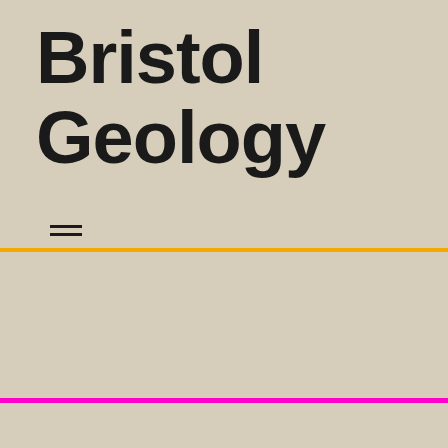Bristol Geology
Somerset Papers
[Figure (photo): Partial view of a photograph, appears to show a coastal or landscape scene with blue sky and terrain, partially visible at bottom of page]